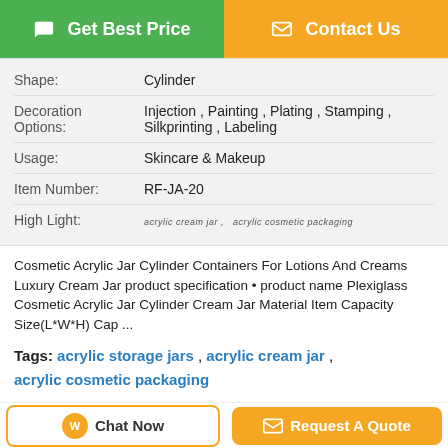[Figure (other): Two buttons: green 'Get Best Price' and orange 'Contact Us']
| Attribute | Value |
| --- | --- |
| Shape: | Cylinder |
| Decoration Options: | Injection , Painting , Plating , Stamping , Silkprinting , Labeling |
| Usage: | Skincare & Makeup |
| Item Number: | RF-JA-20 |
| High Light: | acrylic cream jar , acrylic cosmetic packaging |
Cosmetic Acrylic Jar Cylinder Containers For Lotions And Creams Luxury Cream Jar product specification • product name Plexiglass Cosmetic Acrylic Jar Cylinder Cream Jar Material Item Capacity Size(L*W*H) Cap ...
Tags: acrylic storage jars , acrylic cream jar , acrylic cosmetic packaging
Product Description >
Get the Best Price for
[Figure (other): Two bottom buttons: 'Chat Now' and 'Request A Quote']